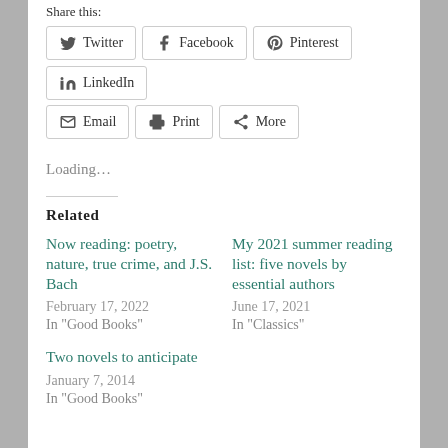Share this:
Twitter  Facebook  Pinterest  LinkedIn  Email  Print  More
Loading…
Related
Now reading: poetry, nature, true crime, and J.S. Bach
February 17, 2022
In "Good Books"
My 2021 summer reading list: five novels by essential authors
June 17, 2021
In "Classics"
Two novels to anticipate
January 7, 2014
In "Good Books"